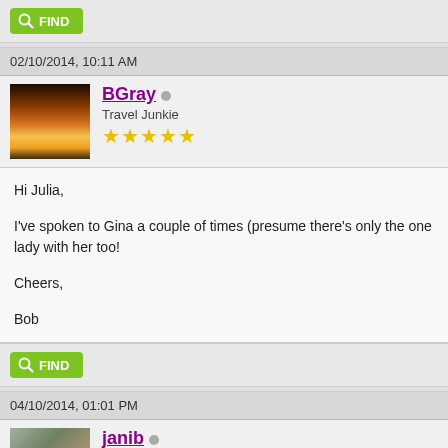[Figure (other): Green FIND button with magnifying glass icon]
02/10/2014, 10:11 AM
[Figure (photo): Sunset/sunrise photo used as user avatar for BGray]
BGray
Travel Junkie
★★★★★
Hi Julia,

I've spoken to Gina a couple of times (presume there's only the one lady with her too!

Cheers,

Bob
[Figure (other): Green FIND button with magnifying glass icon]
04/10/2014, 01:01 PM
[Figure (photo): User photo for janib]
janib
Posting Freak
★★★★★